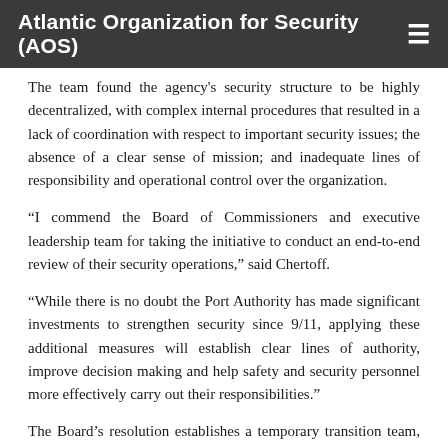Atlantic Organization for Security (AOS)
The team found the agency's security structure to be highly decentralized, with complex internal procedures that resulted in a lack of coordination with respect to important security issues; the absence of a clear sense of mission; and inadequate lines of responsibility and operational control over the organization.
“I commend the Board of Commissioners and executive leadership team for taking the initiative to conduct an end-to-end review of their security operations,” said Chertoff.
“While there is no doubt the Port Authority has made significant investments to strengthen security since 9/11, applying these additional measures will establish clear lines of authority, improve decision making and help safety and security personnel more effectively carry out their responsibilities.”
The Board’s resolution establishes a temporary transition team, led by Port Authority Executive Director Pat Foye and Deputy Executive Director Bill Baroni to help assemble the new security division.